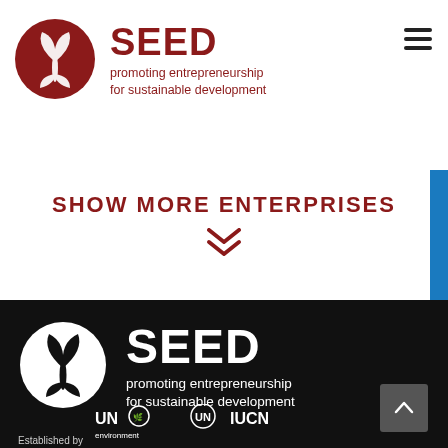[Figure (logo): SEED logo in header: dark red circle with leaf/plant icon, text SEED promoting entrepreneurship for sustainable development in dark red]
SHOW MORE ENTERPRISES
[Figure (logo): SEED logo in dark footer: white circle with plant icon, white text SEED promoting entrepreneurship for sustainable development]
Established by
[Figure (logo): UN Environment logo (white), UN logo (white), IUCN logo (white) shown in footer]